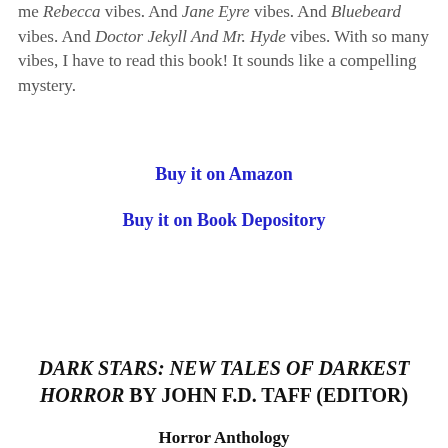me Rebecca vibes. And Jane Eyre vibes. And Bluebeard vibes. And Doctor Jekyll And Mr. Hyde vibes. With so many vibes, I have to read this book! It sounds like a compelling mystery.
Buy it on Amazon
Buy it on Book Depository
DARK STARS: NEW TALES OF DARKEST HORROR BY JOHN F.D. TAFF (EDITOR)
Horror Anthology